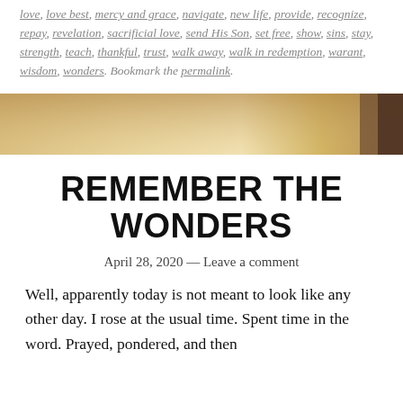love, love best, mercy and grace, navigate, new life, provide, recognize, repay, revelation, sacrificial love, send His Son, set free, show, sins, stay, strength, teach, thankful, trust, walk away, walk in redemption, warant, wisdom, wonders. Bookmark the permalink.
[Figure (photo): A warm golden-toned horizontal banner image, likely a sunrise or sunset with soft light and bokeh effects.]
REMEMBER THE WONDERS
April 28, 2020 — Leave a comment
Well, apparently today is not meant to look like any other day. I rose at the usual time. Spent time in the word. Prayed, pondered, and then